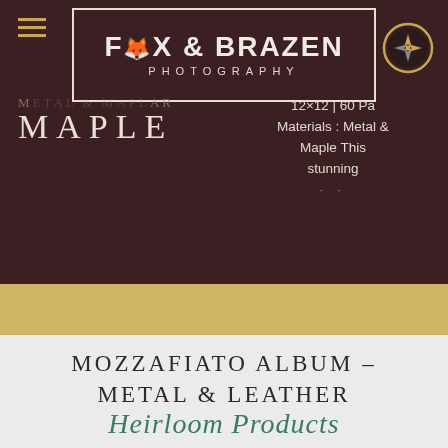[Figure (logo): Fox & Brazen Photography logo in a rectangular border with decorative fox icon]
METAL & MAPLE
MAPLE
12×12 | 60 Pa
Materials : Metal &
Maple This
stunning
READ MORE
MOZZAFIATO ALBUM – METAL & LEATHER
Heirloom Products